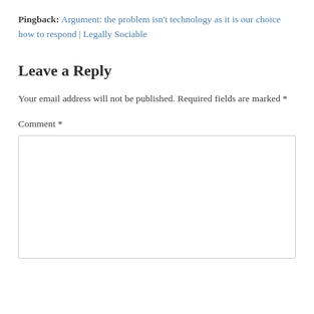Pingback: Argument: the problem isn't technology as it is our choice how to respond | Legally Sociable
Leave a Reply
Your email address will not be published. Required fields are marked *
Comment *